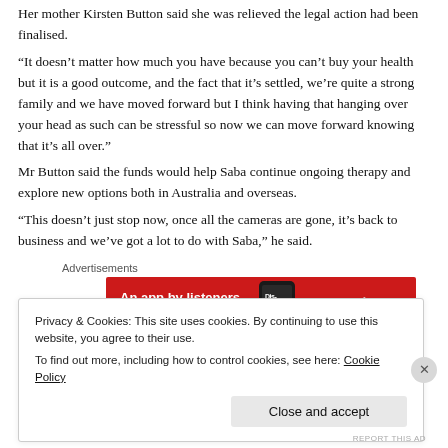Her mother Kirsten Button said she was relieved the legal action had been finalised.
“It doesn’t matter how much you have because you can’t buy your health but it is a good outcome, and the fact that it’s settled, we’re quite a strong family and we have moved forward but I think having that hanging over your head as such can be stressful so now we can move forward knowing that it’s all over.”
Mr Button said the funds would help Saba continue ongoing therapy and explore new options both in Australia and overseas.
“This doesn’t just stop now, once all the cameras are gone, it’s back to business and we’ve got a lot to do with Saba,” he said.
Advertisements
[Figure (other): Pocket Casts advertisement banner with red background showing 'An app by listeners, for listeners.' with a phone image and Pocket Casts logo]
Privacy & Cookies: This site uses cookies. By continuing to use this website, you agree to their use.
To find out more, including how to control cookies, see here: Cookie Policy
Close and accept